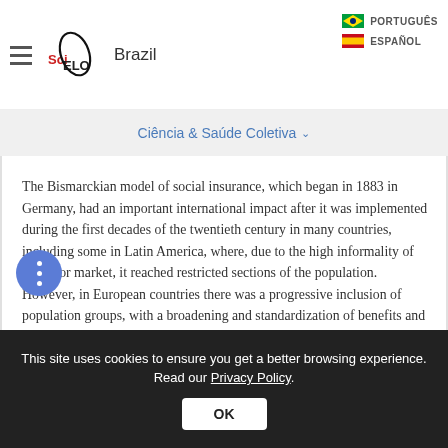SciELO Brazil | PORTUGUÊS | ESPAÑOL
Ciência & Saúde Coletiva
The Bismarckian model of social insurance, which began in 1883 in Germany, had an important international impact after it was implemented during the first decades of the twentieth century in many countries, including some in Latin America, where, due to the high informality of the labor market, it reached restricted sections of the population. However, in European countries there was a progressive inclusion of population groups, with a broadening and standardization of benefits and universal coverage.
This site uses cookies to ensure you get a better browsing experience. Read our Privacy Policy.